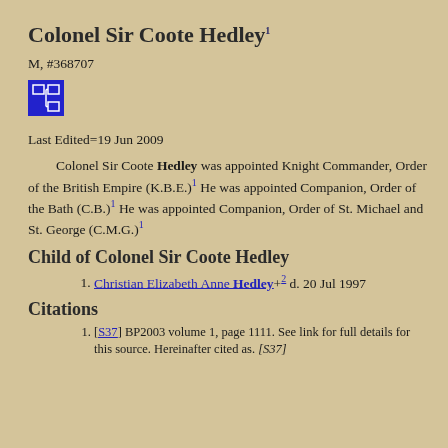Colonel Sir Coote Hedley¹
M, #368707
[Figure (other): Blue icon button with family tree/org chart symbol]
Last Edited=19 Jun 2009
Colonel Sir Coote Hedley was appointed Knight Commander, Order of the British Empire (K.B.E.)¹ He was appointed Companion, Order of the Bath (C.B.)¹ He was appointed Companion, Order of St. Michael and St. George (C.M.G.)¹
Child of Colonel Sir Coote Hedley
Christian Elizabeth Anne Hedley+ ² d. 20 Jul 1997
Citations
[S37] BP2003 volume 1, page 1111. See link for full details for this source. Hereinafter cited as. [S37]